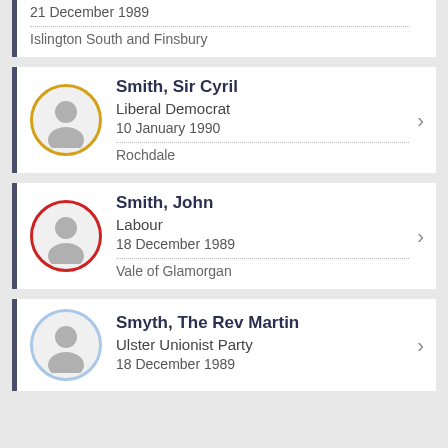21 December 1989 | Islington South and Finsbury
Smith, Sir Cyril | Liberal Democrat | 10 January 1990 | Rochdale
Smith, John | Labour | 18 December 1989 | Vale of Glamorgan
Smyth, The Rev Martin | Ulster Unionist Party | 18 December 1989